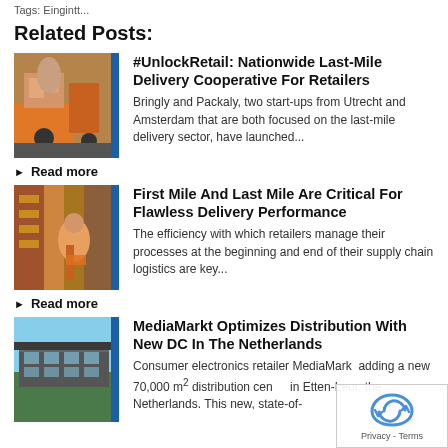Tags: Eingintt...
Related Posts:
[Figure (photo): Delivery person on orange cargo bike with packages]
#UnlockRetail: Nationwide Last-Mile Delivery Cooperative For Retailers
Bringly and Packaly, two start-ups from Utrecht and Amsterdam that are both focused on the last-mile delivery sector, have launched...
Read more
[Figure (photo): Worker in orange vest on warehouse shelf ladder]
First Mile And Last Mile Are Critical For Flawless Delivery Performance
The efficiency with which retailers manage their processes at the beginning and end of their supply chain logistics are key...
Read more
[Figure (photo): Modern distribution center building exterior]
MediaMarkt Optimizes Distribution With New DC In The Netherlands
Consumer electronics retailer MediaMarkt is adding a new 70,000 m2 distribution center in Etten-Leur, the Netherlands. This new, state-of-